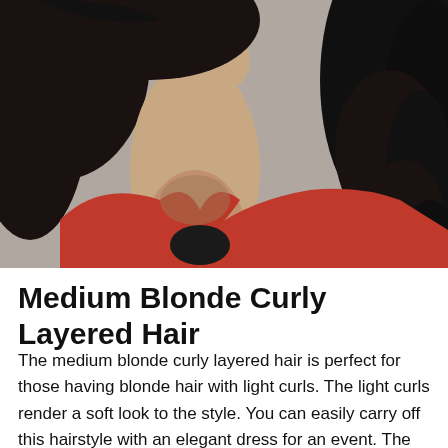[Figure (photo): A woman with dark curly layered hair wearing a red blazer and black top, photographed from chin level down to chest, with face partially visible (chin and lips shown).]
Medium Blonde Curly Layered Hair
The medium blonde curly layered hair is perfect for those having blonde hair with light curls. The light curls render a soft look to the style. You can easily carry off this hairstyle with an elegant dress for an event. The soft curls are nicely done up to accentuate the face. For a little bit of messy look, few strands